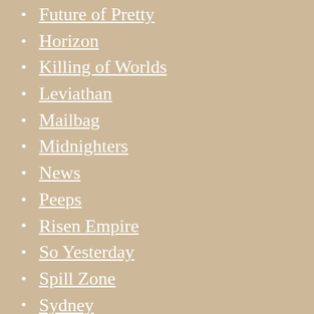Future of Pretty
Horizon
Killing of Worlds
Leviathan
Mailbag
Midnighters
News
Peeps
Risen Empire
So Yesterday
Spill Zone
Sydney
travel
Uglies
Writing & Publishing
Writing Advice
Zeroes
Zombies